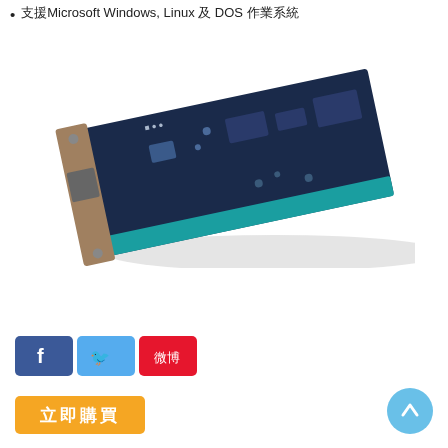支援Microsoft Windows, Linux 及 DOS 作業系統
[Figure (photo): A PCI network interface card (NIC) shown at an angle, dark navy blue PCB with components, metallic bracket on left side, teal/blue stripe along bottom edge]
[Figure (other): Social media icons: Facebook (blue), Twitter (light blue), Weibo (red)]
[Figure (other): Orange buy button with Chinese text '立即購買' (Buy Now)]
[Figure (other): Scroll to top button, light blue circle with upward arrow]